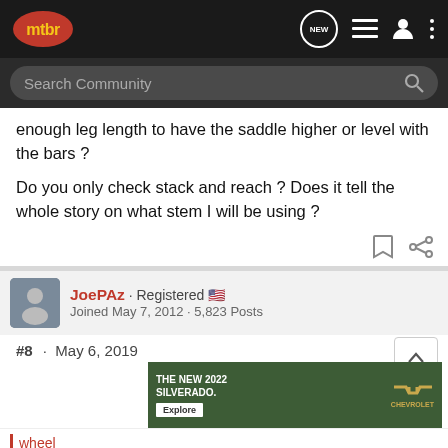mtbr - NEW (menu icons)
Search Community
enough leg length to have the saddle higher or level with the bars ?
Do you only check stack and reach ? Does it tell the whole story on what stem I will be using ?
JoePAz · Registered 🇺🇸
Joined May 7, 2012 · 5,823 Posts
#8 · May 6, 2019
[Figure (screenshot): Advertisement for THE NEW 2022 SILVERADO by Chevrolet with Explore button]
wheel